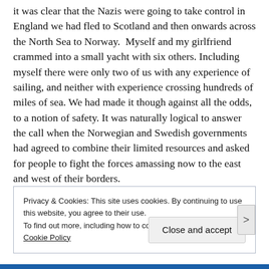it was clear that the Nazis were going to take control in England we had fled to Scotland and then onwards across the North Sea to Norway.  Myself and my girlfriend crammed into a small yacht with six others. Including myself there were only two of us with any experience of sailing, and neither with experience crossing hundreds of miles of sea. We had made it though against all the odds, to a notion of safety. It was naturally logical to answer the call when the Norwegian and Swedish governments had agreed to combine their limited resources and asked for people to fight the forces amassing now to the east and west of their borders.
Privacy & Cookies: This site uses cookies. By continuing to use this website, you agree to their use.
To find out more, including how to control cookies, see here: Cookie Policy